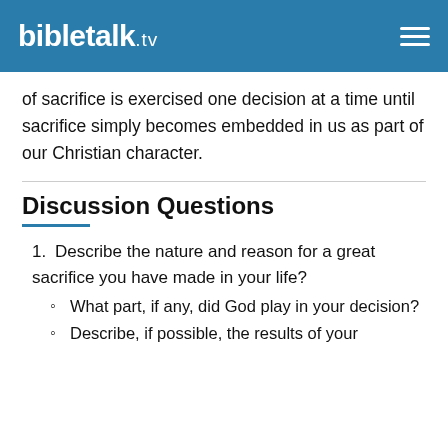BibleTalk.TV
of sacrifice is exercised one decision at a time until sacrifice simply becomes embedded in us as part of our Christian character.
Discussion Questions
1. Describe the nature and reason for a great sacrifice you have made in your life?
What part, if any, did God play in your decision?
Describe, if possible, the results of your